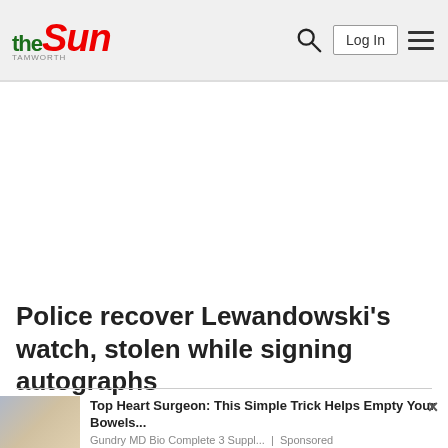the Sun
Police recover Lewandowski's watch, stolen while signing autographs
[Figure (photo): Advertisement thumbnail showing a hand near a sink with running water]
Top Heart Surgeon: This Simple Trick Helps Empty Your Bowels...
Gundry MD Bio Complete 3 Suppl... | Sponsored